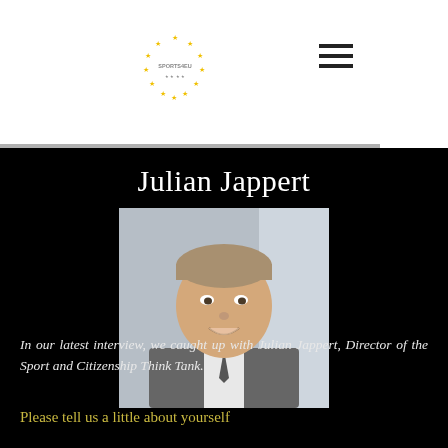SPORTS4EU
Julian Jappert
[Figure (photo): Portrait photo of Julian Jappert, a man in a grey suit, smiling, with a blurred background]
In our latest interview, we caught up with Julian Jappert, Director of the Sport and Citizenship Think Tank.
Please tell us a little about yourself